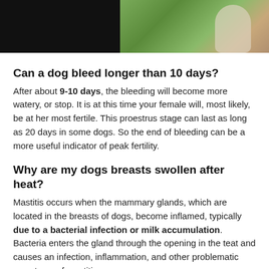[Figure (photo): Two-panel image strip: left panel is a dark/black photo, right panel shows a white dog near green foliage outdoors.]
Can a dog bleed longer than 10 days?
After about 9-10 days, the bleeding will become more watery, or stop. It is at this time your female will, most likely, be at her most fertile. This proestrus stage can last as long as 20 days in some dogs. So the end of bleeding can be a more useful indicator of peak fertility.
Why are my dogs breasts swollen after heat?
Mastitis occurs when the mammary glands, which are located in the breasts of dogs, become inflamed, typically due to a bacterial infection or milk accumulation. Bacteria enters the gland through the opening in the teat and causes an infection, inflammation, and other problematic symptoms of mastitis.
How long do you have to wait to spay a dog